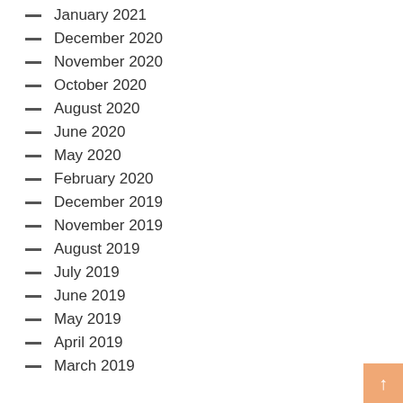January 2021
December 2020
November 2020
October 2020
August 2020
June 2020
May 2020
February 2020
December 2019
November 2019
August 2019
July 2019
June 2019
May 2019
April 2019
March 2019